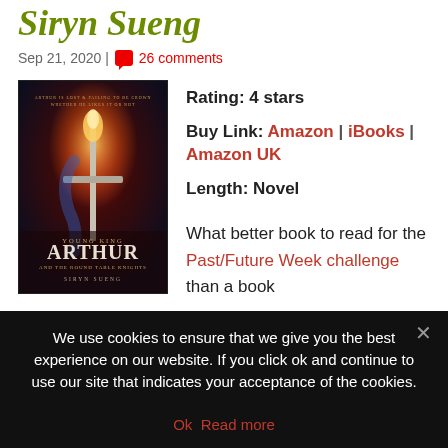Siryn Sueng
Sep 21, 2020 | 26 comments
[Figure (illustration): Book cover for Young King Arthur and the Round Table Knights by Siryn Sueng, featuring a sword with flames and dark atmospheric background]
Rating: 4 stars
Buy Link: Amazon | iBooks | Amazon UK
Length: Novel
What better book to read for the Past/Future Week challenge than a book about the Once and Future King, Arthur himself? While his actual past may be more mythical than historical, the place and peoples
We use cookies to ensure that we give you the best experience on our website. If you click ok and continue to use our site that indicates your acceptance of the cookies.
Ok  Read more